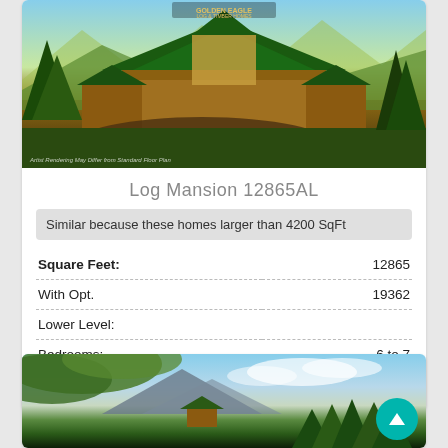[Figure (photo): Artist rendering of a large log mansion home with dark green roof, timber frame construction, large windows, and a circular driveway with reflection pond, surrounded by trees and mountains in autumn]
Log Mansion 12865AL
Similar because these homes larger than 4200 SqFt
| Square Feet: | 12865 |
| With Opt. | 19362 |
| Lower Level: |  |
| Bedrooms: | 6 to 7 |
| Bathrooms: | 8 to 11 |
[Figure (photo): Photo of a log cabin home surrounded by tall pine trees with mountains and cloudy sky in background, viewed through leafy tree branches in foreground]